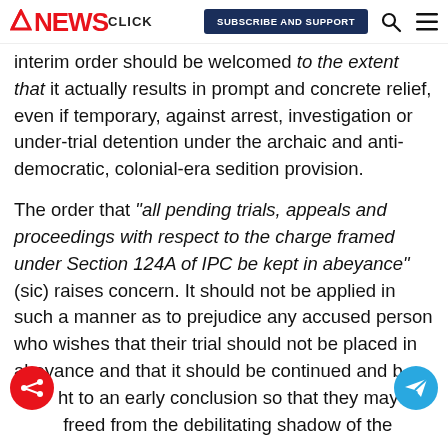NEWS CLICK | SUBSCRIBE AND SUPPORT
Interim order should be welcomed to the extent that it actually results in prompt and concrete relief, even if temporary, against arrest, investigation or under-trial detention under the archaic and anti-democratic, colonial-era sedition provision.
The order that "all pending trials, appeals and proceedings with respect to the charge framed under Section 124A of IPC be kept in abeyance" (sic) raises concern. It should not be applied in such a manner as to prejudice any accused person who wishes that their trial should not be placed in abeyance and that it should be continued and brought to an early conclusion so that they may freed from the debilitating shadow of the